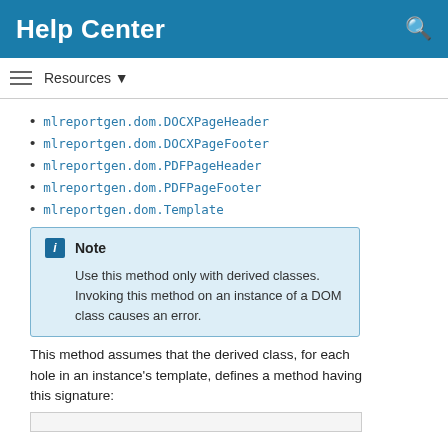Help Center
mlreportgen.dom.DOCXPageHeader
mlreportgen.dom.DOCXPageFooter
mlreportgen.dom.PDFPageHeader
mlreportgen.dom.PDFPageFooter
mlreportgen.dom.Template
Note
Use this method only with derived classes. Invoking this method on an instance of a DOM class causes an error.
This method assumes that the derived class, for each hole in an instance's template, defines a method having this signature: